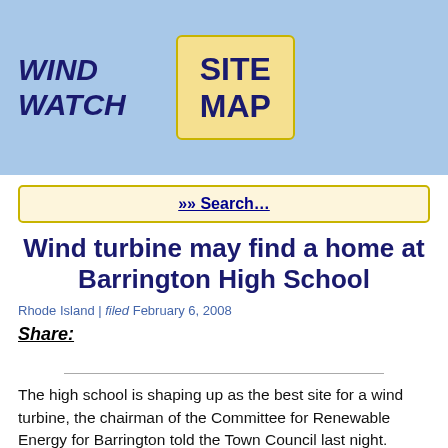WIND WATCH | SITE MAP
[Figure (other): Search bar with link: »» Search...]
Wind turbine may find a home at Barrington High School
Rhode Island | filed February 6, 2008
Share:
The high school is shaping up as the best site for a wind turbine, the chairman of the Committee for Renewable Energy for Barrington told the Town Council last night.